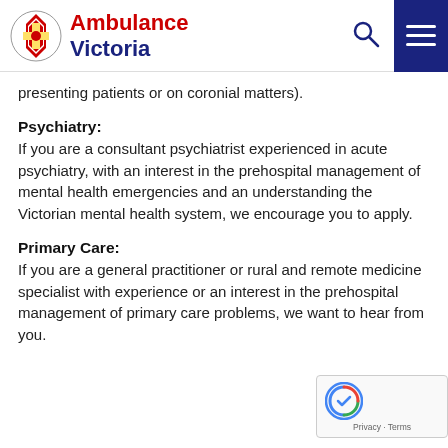Ambulance Victoria
presenting patients or on coronial matters).
Psychiatry:
If you are a consultant psychiatrist experienced in acute psychiatry, with an interest in the prehospital management of mental health emergencies and an understanding the Victorian mental health system, we encourage you to apply.
Primary Care:
If you are a general practitioner or rural and remote medicine specialist with experience or an interest in the prehospital management of primary care problems, we want to hear from you.